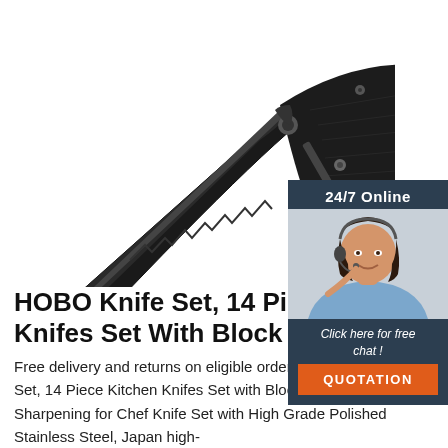[Figure (photo): A black folding tactical knife with serrated blade, open position, shown at a diagonal angle on white background.]
[Figure (infographic): 24/7 Online chat widget in dark blue/teal with a photo of a smiling female customer service agent wearing a headset, with 'Click here for free chat!' text and an orange 'QUOTATION' button.]
HOBO Knife Set, 14 Piece Kitchen Knifes Set With Block ...
Free delivery and returns on eligible orders. Buy HOBO Knife Set, 14 Piece Kitchen Knifes Set with Block Wooden, Self Sharpening for Chef Knife Set with High Grade Polished Stainless Steel, Japan high-
[Figure (logo): Orange 'TOP' badge with dot arc above the text.]